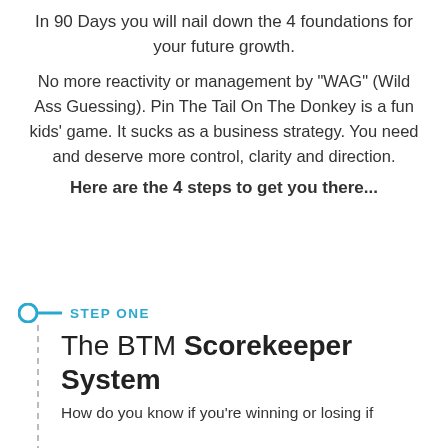In 90 Days you will nail down the 4 foundations for your future growth.
No more reactivity or management by "WAG" (Wild Ass Guessing).  Pin The Tail On The Donkey is a fun kids' game.  It sucks as a business strategy.  You need and deserve more control, clarity and direction.
Here are the 4 steps to get you there...
STEP ONE
The BTM Scorekeeper System
How do you know if you're winning or losing if